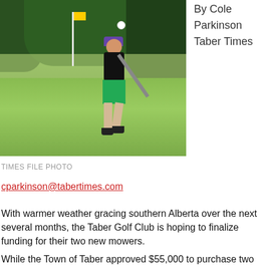[Figure (photo): A young boy in a black shirt, green camo shorts, purple cap, and sunglasses, swinging a golf club on a golf course fairway with trees in the background. A golf ball is visible in the air.]
By Cole
Parkinson
Taber Times
TIMES FILE PHOTO
cparkinson@tabertimes.com
With warmer weather gracing southern Alberta over the next several months, the Taber Golf Club is hoping to finalize funding for their two new mowers.
While the Town of Taber approved $55,000 to purchase two new